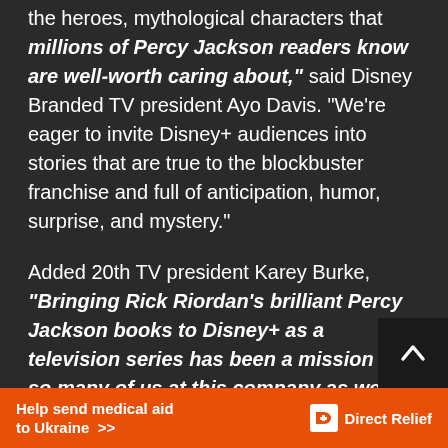the heroes, mythological characters that millions of Percy Jackson readers know are well-worth caring about," said Disney Branded TV president Ayo Davis. "We're eager to invite Disney+ audiences into stories that are true to the blockbuster franchise and full of anticipation, humor, surprise, and mystery."
Added 20th TV president Karey Burke, "Bringing Rick Riordan's brilliant Percy Jackson books to Disney+ as a television series has been a mission for so many of us at this company as well as for Rick himself, and Jon, Dan, Jam... and the excellent team they have assemb...
[Figure (other): Scroll-to-top button (dark background with white upward chevron arrow)]
Help send medical aid to Ukraine >> | Direct Relief